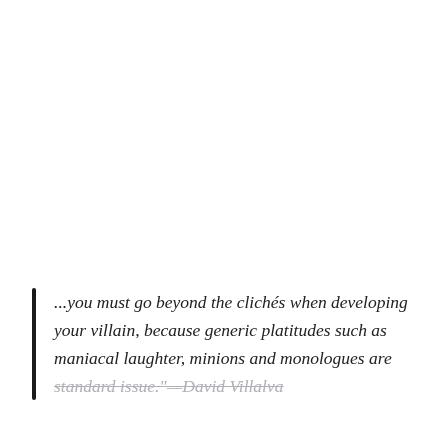...you must go beyond the clichés when developing your villain, because generic platitudes such as maniacal laughter, minions and monologues are standard issue."—David Villalva